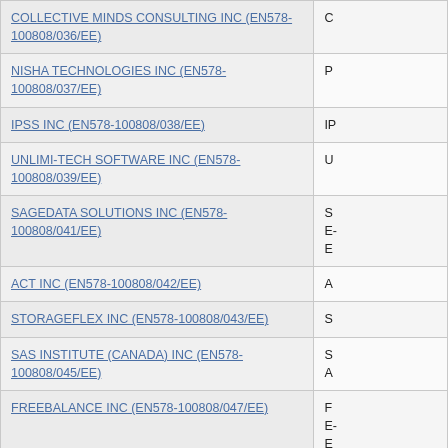| Supplier Name | Details (truncated) |
| --- | --- |
| COLLECTIVE MINDS CONSULTING INC (EN578-100808/036/EE) | C... |
| NISHA TECHNOLOGIES INC (EN578-100808/037/EE) | P... |
| IPSS INC (EN578-100808/038/EE) | IP... |
| UNLIMI-TECH SOFTWARE INC (EN578-100808/039/EE) | U... |
| SAGEDATA SOLUTIONS INC (EN578-100808/041/EE) | S... E... E... |
| ACT INC (EN578-100808/042/EE) | A... |
| STORAGEFLEX INC (EN578-100808/043/EE) | S... |
| SAS INSTITUTE (CANADA) INC (EN578-100808/045/EE) | S... A... |
| FREEBALANCE INC (EN578-100808/047/EE) | F... E... E... |
| HEXAGON SAFETY AND INFRASTRUCTURE (EN578-100808/051/EE) | IN... A... |
| EMC CORPORATION OF CANADA (EN578-100808/053/EE) | P... |